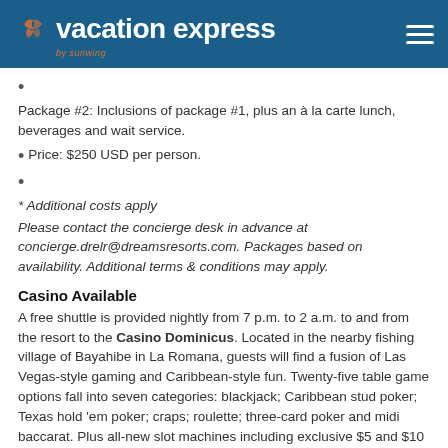vacation express by sunwing
Package #2: Inclusions of package #1, plus an à la carte lunch, beverages and wait service.
Price: $250 USD per person.
* Additional costs apply
Please contact the concierge desk in advance at concierge.drelr@dreamsresorts.com. Packages based on availability. Additional terms & conditions may apply.
Casino Available
A free shuttle is provided nightly from 7 p.m. to 2 a.m. to and from the resort to the Casino Dominicus. Located in the nearby fishing village of Bayahibe in La Romana, guests will find a fusion of Las Vegas-style gaming and Caribbean-style fun. Twenty-five table game options fall into seven categories: blackjack; Caribbean stud poker; Texas hold 'em poker; craps; roulette; three-card poker and midi baccarat. Plus all-new slot machines including exclusive $5 and $10 machines. In addition to the 25 table games, there is a high- limit room with blackjack, roulette and baccarat. The VIP room features a private cashier and cage and the highest limits on the island. If you're a sports fan, the race and sportsbook